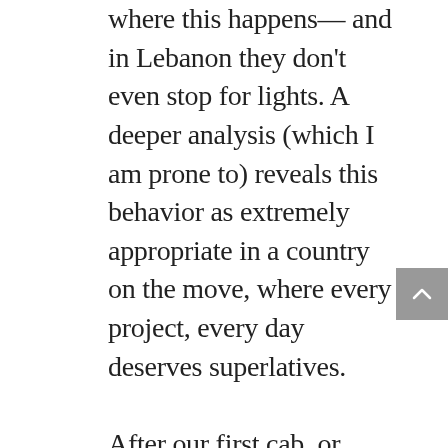where this happens— and in Lebanon they don't even stop for lights. A deeper analysis (which I am prone to) reveals this behavior as extremely appropriate in a country on the move, where every project, every day deserves superlatives.

After our first cab, or karwa, ride, we ended up at one of the several souks in Qatar. I am not usually a shopper, but we meandered up and down for three inexplicable hours. I'm not kidding. Three hours. I walked up. I walked down. I walked up. I walked down. Shopped left. Shopped right. You can drive yourself crazy seeing all of the deals. And you know